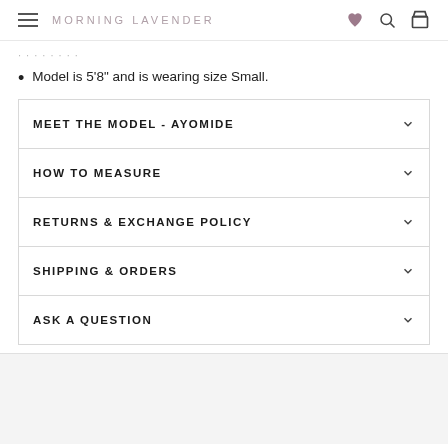MORNING LAVENDER
Model is 5'8" and is wearing size Small.
MEET THE MODEL - AYOMIDE
HOW TO MEASURE
RETURNS & EXCHANGE POLICY
SHIPPING & ORDERS
ASK A QUESTION